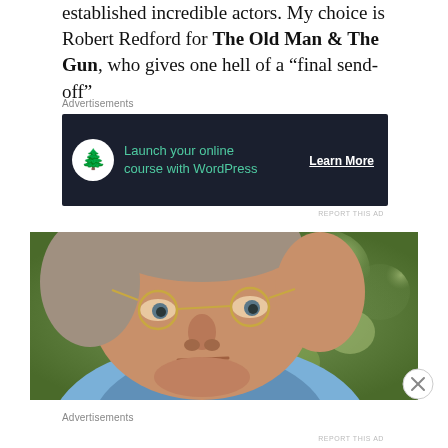established incredible actors. My choice is Robert Redford for The Old Man & The Gun, who gives one hell of a “final send-off”
Advertisements
[Figure (other): Advertisement banner: dark navy background with a bonsai tree icon, teal text 'Launch your online course with WordPress', and a white underlined 'Learn More' call-to-action button.]
REPORT THIS AD
[Figure (photo): Close-up portrait of an older man with grey hair wearing round gold-framed glasses and a blue shirt, with a blurred green background.]
Advertisements
REPORT THIS AD